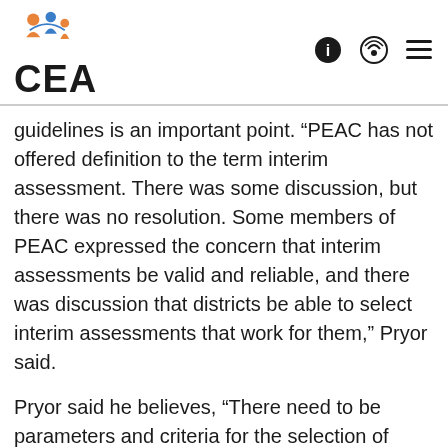CEA
guidelines is an important point. “PEAC has not offered definition to the term interim assessment. There was some discussion, but there was no resolution. Some members of PEAC expressed the concern that interim assessments be valid and reliable, and there was discussion that districts be able to select interim assessments that work for them,” Pryor said.
Pryor said he believes, “There need to be parameters and criteria for the selection of these interim assessments for districts.”
Before the State Board took the vote on the guidelines, Joe Vrabley, a board member, expressed concern.